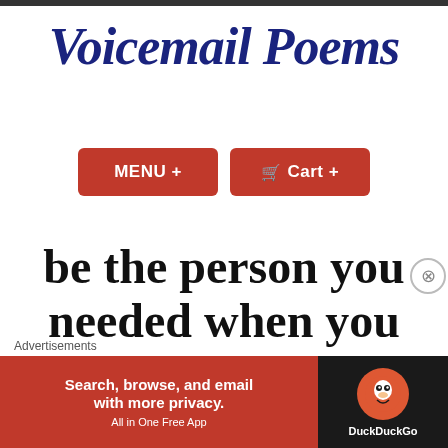Voicemail Poems
MENU + | Cart +
be the person you needed when you were young (while knowing
Advertisements
[Figure (screenshot): DuckDuckGo advertisement banner: orange/red background with text 'Search, browse, and email with more privacy. All in One Free App' on the left, and DuckDuckGo duck logo on dark background on the right.]